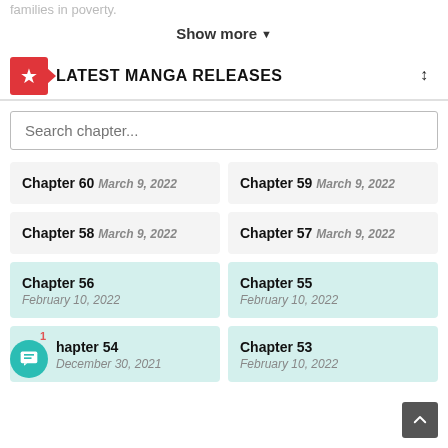families in poverty.
Show more ▾
LATEST MANGA RELEASES
Search chapter...
Chapter 60 March 9, 2022
Chapter 59 March 9, 2022
Chapter 58 March 9, 2022
Chapter 57 March 9, 2022
Chapter 56
February 10, 2022
Chapter 55
February 10, 2022
Chapter 54
December 30, 2021
Chapter 53
February 10, 2022